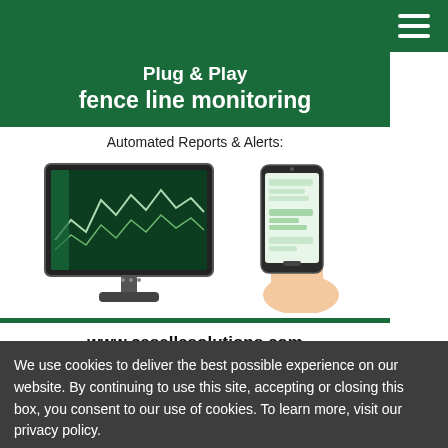Plug & Play fence line monitoring
Automated Reports & Alerts:
[Figure (photo): A desktop monitor displaying a line chart dashboard (dark green/black interface), and a hand holding a smartphone with text message notifications visible.]
www.casellasolutions.com
MOST POPULAR ARTICLES
Four Environmentally Conscious Ways to Manage Stormwater Runoff
We use cookies to deliver the best possible experience on our website. By continuing to use this site, accepting or closing this box, you consent to our use of cookies. To learn more, visit our privacy policy.